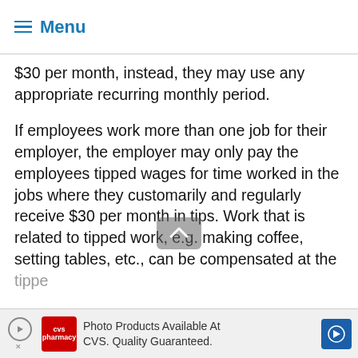≡ Menu
$30 per month, instead, they may use any appropriate recurring monthly period.
If employees work more than one job for their employer, the employer may only pay the employees tipped wages for time worked in the jobs where they customarily and regularly receive $30 per month in tips. Work that is related to tipped work, e.g. making coffee, setting tables, etc., can be compensated at the tipped wages...
[Figure (other): Advertisement banner: CVS Pharmacy - Photo Products Available At CVS. Quality Guaranteed.]